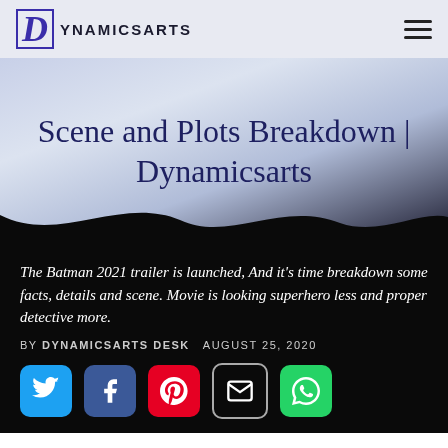D DYNAMICSARTS
Scene and Plots Breakdown | Dynamicsarts
The Batman 2021 trailer is launched, And it's time breakdown some facts, details and scene. Movie is looking superhero less and proper detective more.
BY DYNAMICSARTS DESK   AUGUST 25, 2020